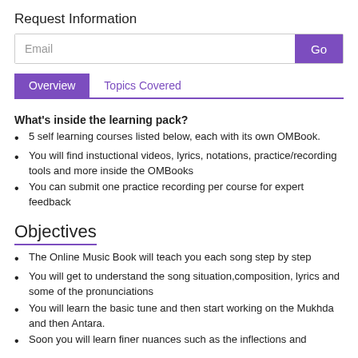Request Information
[Figure (other): Email input field with Go button]
[Figure (other): Tab navigation with Overview (active, purple) and Topics Covered tabs]
What's inside the learning pack?
5 self learning courses listed below, each with its own OMBook.
You will find instuctional videos, lyrics, notations, practice/recording tools and more inside the OMBooks
You can submit one practice recording per course for expert feedback
Objectives
The Online Music Book will teach you each song step by step
You will get to understand the song situation,composition, lyrics and some of the pronunciations
You will learn the basic tune and then start working on the Mukhda and then Antara.
Soon you will learn finer nuances such as the inflections and